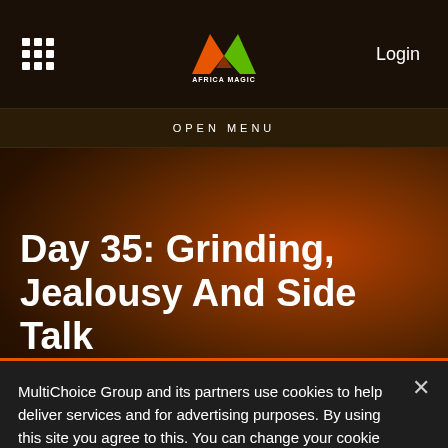Africa Magic — Login
OPEN MENU
Day 35: Grinding, Jealousy And Side Talk
MultiChoice Group and its partners use cookies to help deliver services and for advertising purposes. By using this site you agree to this. You can change your cookie settings by clicking on Manage Cookies in the footer of the page. For more information, see our Privacy Policy.
Cookies Settings
Accept All Cookies